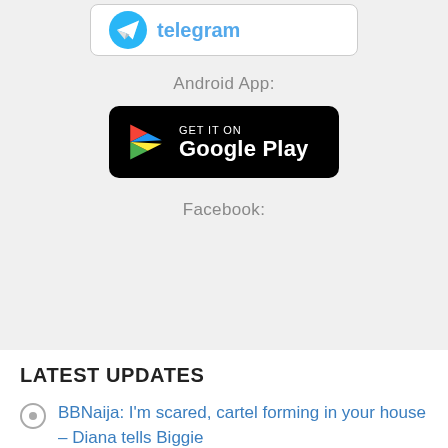[Figure (logo): Telegram banner button with Telegram logo and text]
Android App:
[Figure (logo): GET IT ON Google Play button, black rounded rectangle with Play Store triangle icon]
Facebook:
LATEST UPDATES
BBNaija: I'm scared, cartel forming in your house – Diana tells Biggie
BBnaija: Why I nominated Hermes, Amaka for eviction –